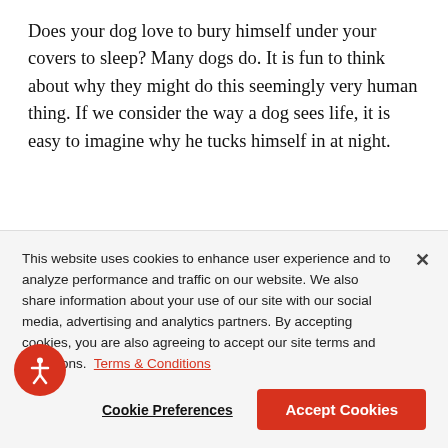Does your dog love to bury himself under your covers to sleep? Many dogs do. It is fun to think about why they might do this seemingly very human thing. If we consider the way a dog sees life, it is easy to imagine why he tucks himself in at night.
Animals depend on the concept of resources.
This website uses cookies to enhance user experience and to analyze performance and traffic on our website. We also share information about your use of our site with our social media, advertising and analytics partners. By accepting cookies, you are also agreeing to accept our site terms and conditions. Terms & Conditions
Cookie Preferences
Accept Cookies